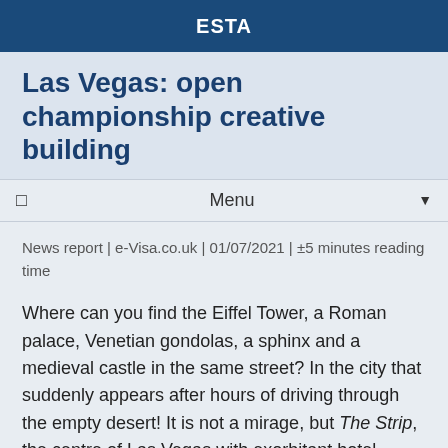ESTA
Las Vegas: open championship creative building
Menu
News report | e-Visa.co.uk | 01/07/2021 | ±5 minutes reading time
Where can you find the Eiffel Tower, a Roman palace, Venetian gondolas, a sphinx and a medieval castle in the same street? In the city that suddenly appears after hours of driving through the empty desert! It is not a mirage, but The Strip, the centre of Las Vegas with exorbitant hotel-casinos. Built by people with a lot of